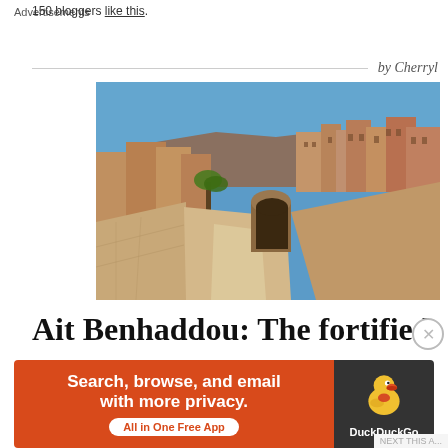150 bloggers like this.
by Cherryl
[Figure (photo): A pathway leading toward the fortified mud-brick city of Ait Benhaddou in Morocco, with the ancient kasbah architecture visible against a clear blue sky.]
Ait Benhaddou: The fortified
Advertisements
[Figure (screenshot): DuckDuckGo advertisement banner: 'Search, browse, and email with more privacy. All in One Free App' on orange background with DuckDuckGo duck logo on dark background.]